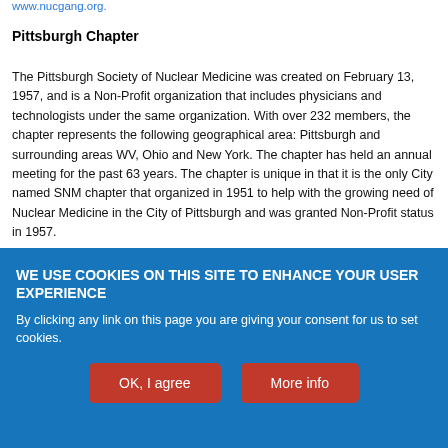www.nucgang.org.
Pittsburgh Chapter
The Pittsburgh Society of Nuclear Medicine was created on February 13, 1957, and is a Non-Profit organization that includes physicians and technologists under the same organization. With over 232 members, the chapter represents the following geographical area: Pittsburgh and surrounding areas WV, Ohio and New York. The chapter has held an annual meeting for the past 63 years. The chapter is unique in that it is the only City named SNM chapter that organized in 1951 to help with the growing need of Nuclear Medicine in the City of Pittsburgh and was granted Non-Profit status in 1957.
WE USE COOKIES ON THIS SITE TO ENHANCE YOUR USER EXPERIENCE
By clicking any link on this page you are giving your consent for us to set cookies.
OK, I agree
More info